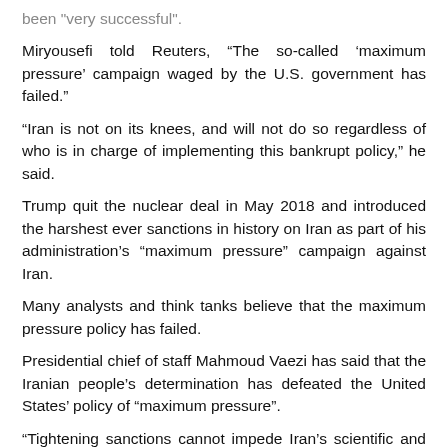been very successful.
Miryousefi told Reuters, “The so-called ‘maximum pressure’ campaign waged by the U.S. government has failed.”
“Iran is not on its knees, and will not do so regardless of who is in charge of implementing this bankrupt policy,” he said.
Trump quit the nuclear deal in May 2018 and introduced the harshest ever sanctions in history on Iran as part of his administration’s “maximum pressure” campaign against Iran.
Many analysts and think tanks believe that the maximum pressure policy has failed.
Presidential chief of staff Mahmoud Vaezi has said that the Iranian people’s determination has defeated the United States’ policy of “maximum pressure”.
“Tightening sanctions cannot impede Iran’s scientific and defense progress. These advances will continue by the scientists and youths’ endeavor. The policy of maximum pressure has failed against the Iranian people’s determination and its continuation along with other wrong policies of Trump